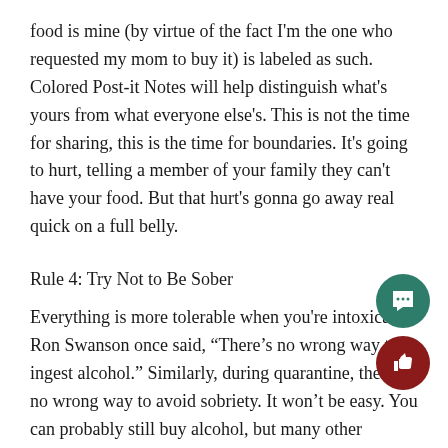food is mine (by virtue of the fact I'm the one who requested my mom to buy it) is labeled as such. Colored Post-it Notes will help distinguish what's yours from what everyone else's. This is not the time for sharing, this is the time for boundaries. It's going to hurt, telling a member of your family they can't have your food. But that hurt's gonna go away real quick on a full belly.
Rule 4: Try Not to Be Sober
Everything is more tolerable when you're intoxicated. Ron Swanson once said, "There's no wrong way to ingest alcohol." Similarly, during quarantine, there's no wrong way to avoid sobriety. It won't be easy. You can probably still buy alcohol, but many other avenues to Flavortown are gonna be closed for a while. Dealers and dispensaries are both becoming increasingly unreliable. But don't worry, there's more than one way to get your buzz on. Sharpies, bath salts, gasoline are all suitable alternatives. None of